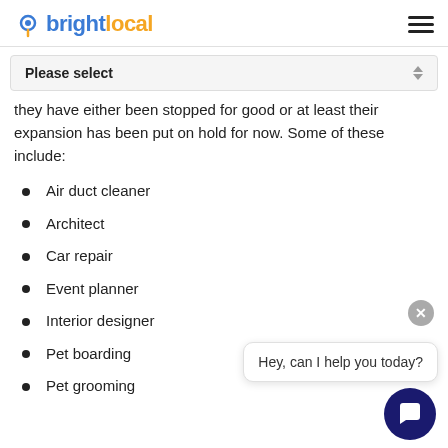brightlocal
Please select
they have either been stopped for good or at least their expansion has been put on hold for now. Some of these include:
Air duct cleaner
Architect
Car repair
Event planner
Interior designer
Pet boarding
Pet grooming
Hey, can I help you today?